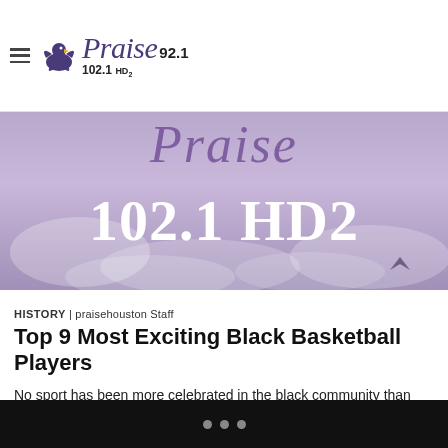Praise 92.1 / 102.1 HD2
[Figure (photo): Purple/lavender banner image showing 'Praise 102.1 HD2' text in large white serif font against a cloudy sky background with the Praise radio station logo.]
HISTORY | praisehouston Staff
Top 9 Most Exciting Black Basketball Players
No sport has been more celebrated in the black community than the game of basketball. From the gifted athletes, to the way the players transcended their sport and became celebrities for their athletic talents, basketball, if not America's game, is black America's game. Here are nine basketball players who made it so. Related: 25 Reasons […]
• • •